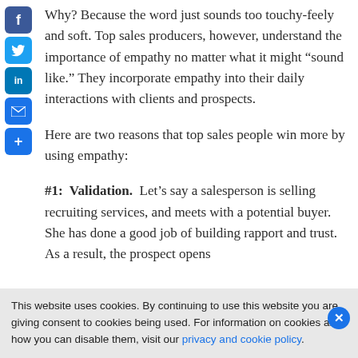[Figure (other): Social share sidebar with Facebook, Twitter, LinkedIn, Email, and Share icons in blue rounded squares]
Why? Because the word just sounds too touchy-feely and soft. Top sales producers, however, understand the importance of empathy no matter what it might “sound like.” They incorporate empathy into their daily interactions with clients and prospects.
Here are two reasons that top sales people win more by using empathy:
#1:  Validation.  Let’s say a salesperson is selling recruiting services, and meets with a potential buyer. She has done a good job of building rapport and trust. As a result, the prospect opens
This website uses cookies. By continuing to use this website you are giving consent to cookies being used. For information on cookies and how you can disable them, visit our privacy and cookie policy.